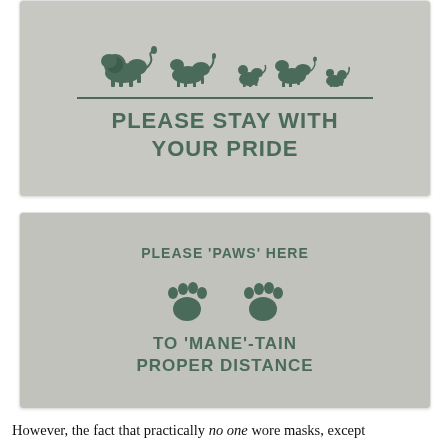[Figure (photo): Photo of concrete ground with stenciled lion silhouettes (animals in a pride) above a horizontal line and text reading 'PLEASE STAY WITH YOUR PRIDE']
[Figure (photo): Photo of concrete ground with stenciled text 'PLEASE 'PAWS' HERE', two paw print symbols, and text 'TO 'MANE'-TAIN PROPER DISTANCE']
However, the fact that practically no one wore masks, except